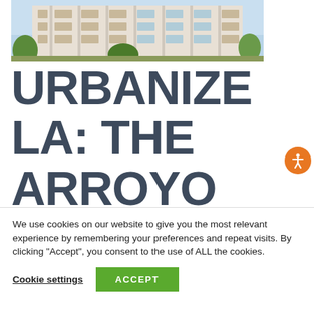[Figure (photo): Exterior rendering of a modern multi-story residential building with glass facade and trees in foreground]
URBANIZE LA: THE ARROYO
We use cookies on our website to give you the most relevant experience by remembering your preferences and repeat visits. By clicking "Accept", you consent to the use of ALL the cookies.
Cookie settings  ACCEPT